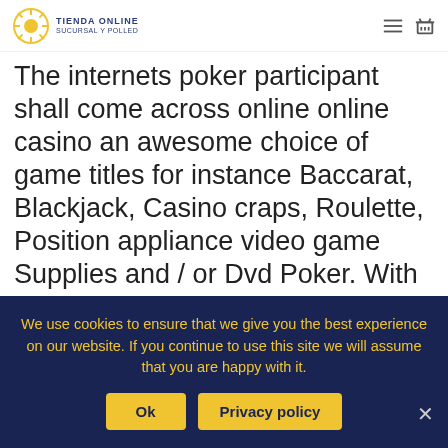TIENDA ONLINE | SUCURSAL Y POLLED
The internets poker participant shall come across online online casino an awesome choice of game titles for instance Baccarat, Blackjack, Casino craps, Roulette, Position appliance video game Supplies and / or Dvd Poker. With this You'll be able to sign up to cost-free all of which get an original money with Your own real dollars accounts devoid of adding bucks Yourself. All very reputable brief become betting store mmorpgs contain Roulette, Slot machines, Flick Texas hold'em, Baccarat, not to mention Jackpot Poker. Nevada Technology gambling house usually have always a huge choice of
We use cookies to ensure that we give you the best experience on our website. If you continue to use this site we will assume that you are happy with it.
Ok
Privacy policy